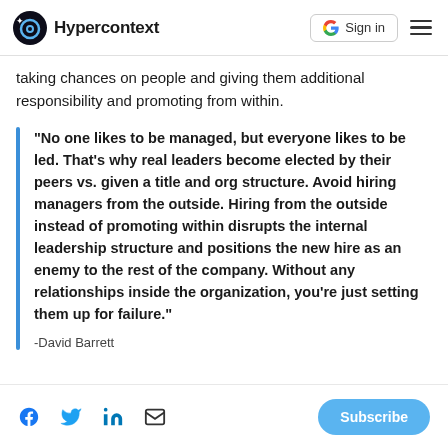Hypercontext | Sign in
taking chances on people and giving them additional responsibility and promoting from within.
“No one likes to be managed, but everyone likes to be led. That’s why real leaders become elected by their peers vs. given a title and org structure. Avoid hiring managers from the outside. Hiring from the outside instead of promoting within disrupts the internal leadership structure and positions the new hire as an enemy to the rest of the company. Without any relationships inside the organization, you’re just setting them up for failure.”
-David Barrett
Facebook Twitter LinkedIn Email | Subscribe